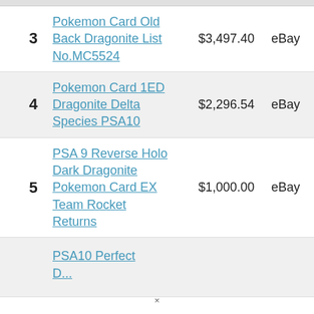| # | Title | Price | Source |
| --- | --- | --- | --- |
| 3 | Pokemon Card Old Back Dragonite List No.MC5524 | $3,497.40 | eBay |
| 4 | Pokemon Card 1ED Dragonite Delta Species PSA10 | $2,296.54 | eBay |
| 5 | PSA 9 Reverse Holo Dark Dragonite Pokemon Card EX Team Rocket Returns | $1,000.00 | eBay |
| 6 | PSA10 Perfect ... |  |  |